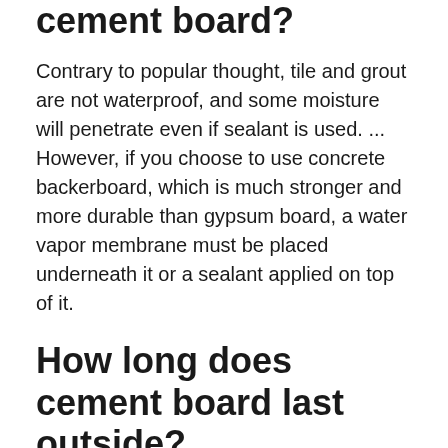cement board?
Contrary to popular thought, tile and grout are not waterproof, and some moisture will penetrate even if sealant is used. ... However, if you choose to use concrete backerboard, which is much stronger and more durable than gypsum board, a water vapor membrane must be placed underneath it or a sealant applied on top of it.
How long does cement board last outside?
For this reason, most manufacturers of fiber cement siding feel pretty confident in offering warranties of 30 years or more on